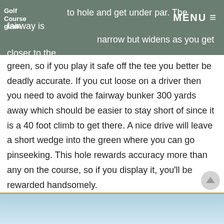Golf Course guide to hole and get under par. The fairway is narrow but widens as you get closer to the MENU
green, so if you play it safe off the tee you better be deadly accurate. If you cut loose on a driver then you need to avoid the fairway bunker 300 yards away which should be easier to stay short of since it is a 40 foot climb to get there. A nice drive will leave a short wedge into the green where you can go pinseeking. This hole rewards accuracy more than any on the course, so if you display it, you’ll be rewarded handsomely.
[Figure (photo): Bottom portion of a golf course photo showing sky and green]